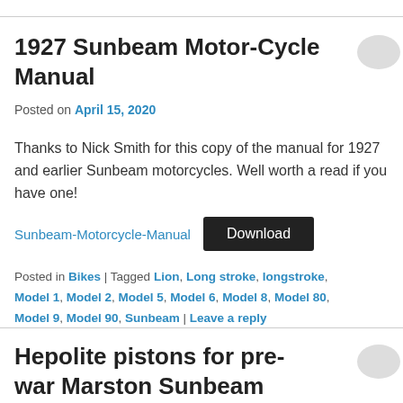1927 Sunbeam Motor-Cycle Manual
Posted on April 15, 2020
Thanks to Nick Smith for this copy of the manual for 1927 and earlier Sunbeam motorcycles. Well worth a read if you have one!
Sunbeam-Motorcycle-Manual   Download
Posted in Bikes | Tagged Lion, Long stroke, longstroke, Model 1, Model 2, Model 5, Model 6, Model 8, Model 80, Model 9, Model 90, Sunbeam | Leave a reply
Hepolite pistons for pre-war Marston Sunbeam